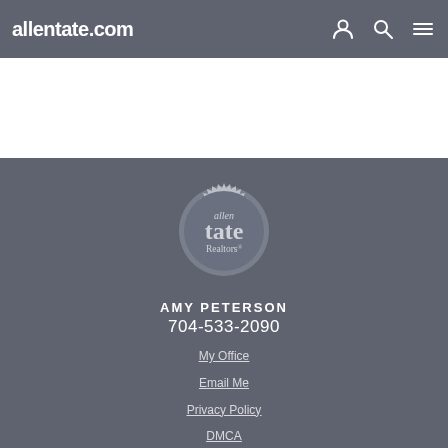allentate.com
[Figure (logo): Allen Tate Realtors circular badge/seal logo in light gray on dark gray background]
AMY PETERSON
704-533-2090
My Office
Email Me
Privacy Policy
DMCA